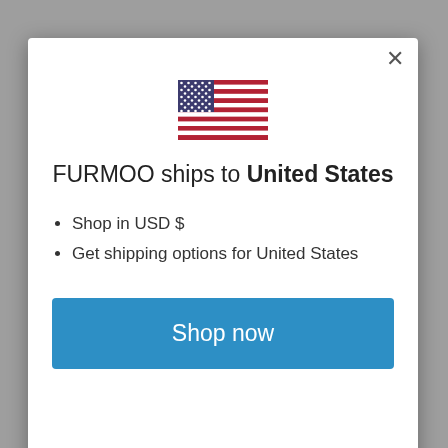[Figure (illustration): US flag emoji/illustration centered in modal]
FURMOO ships to United States
Shop in USD $
Get shipping options for United States
Shop now
Marieke in Lake Hawea, Otago bought Fur Get Me Not Cowhide Phone Pouch about 1 hour ago
[Figure (photo): Small product/person photo in notification bar at bottom left]